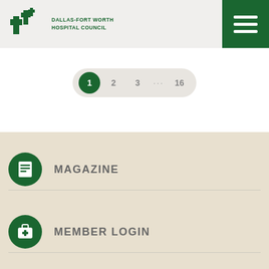[Figure (logo): Dallas-Fort Worth Hospital Council logo with green cross icons and text]
[Figure (other): Hamburger menu button (three horizontal white lines on dark green background)]
[Figure (other): Pagination control showing pages 1 (active/selected), 2, 3, ..., 16]
[Figure (other): Magazine menu item with green circle icon (document icon) and label MAGAZINE]
[Figure (other): Member Login menu item with green circle icon (medical bag with cross) and label MEMBER LOGIN]